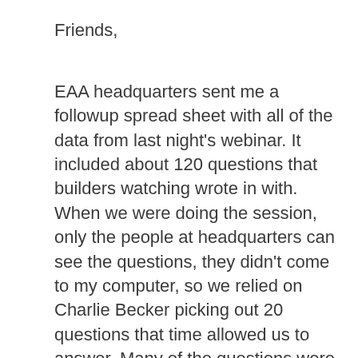Friends,
EAA headquarters sent me a followup spread sheet with all of the data from last night's webinar. It included about 120 questions that builders watching wrote in with. When we were doing the session, only the people at headquarters can see the questions, they didn't come to my computer, so we relied on Charlie Becker picking out 20 questions that time allowed us to answer. Many of the questions were covered in the talk, but I wanted anyone who didn't get an answer to send me the question directly, I will be glad to answer it for you. The EAA ia good about protecting the privacy of members, and the data we got was not tied to anyones email